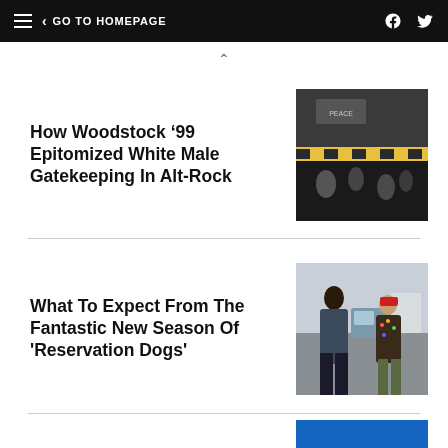GO TO HOMEPAGE
How Woodstock ’99 Epitomized White Male Gatekeeping In Alt-Rock
What To Expect From The Fantastic New Season Of 'Reservation Dogs'